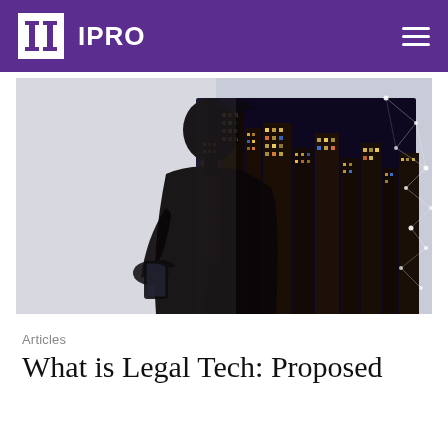IPRO
[Figure (photo): Double exposure image of a woman in silhouette looking at a smartphone, overlaid with a glowing city skyline at night and a network/technology web graphic on the right side]
Articles
What is Legal Tech: Proposed